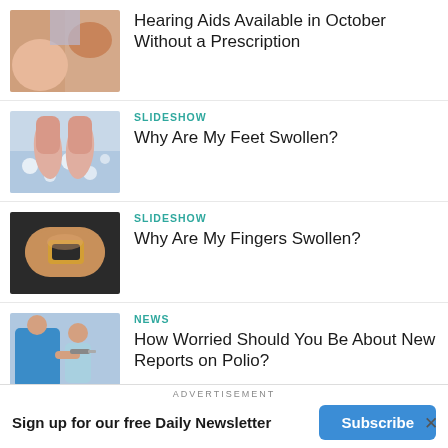[Figure (photo): Close-up of a finger holding a hearing aid device]
Hearing Aids Available in October Without a Prescription
[Figure (photo): Feet in water with bubbles, swollen feet concept]
SLIDESHOW
Why Are My Feet Swollen?
[Figure (photo): Swollen finger with a ring, close-up shot]
SLIDESHOW
Why Are My Fingers Swollen?
[Figure (photo): Healthcare worker giving a vaccination to a child]
NEWS
How Worried Should You Be About New Reports on Polio?
ADVERTISEMENT
Sign up for our free Daily Newsletter